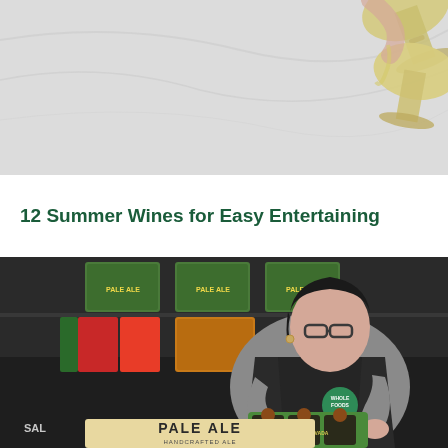[Figure (photo): Top portion of page showing wine glasses being clinked together, pouring white wine, on a light gray/white marble background]
12 Summer Wines for Easy Entertaining
[Figure (photo): Whole Foods Market employee wearing dark apron with Whole Foods Market logo badge, handling Sierra Nevada Pale Ale bottles in a six-pack carrier at a store display. Background shows shelves stocked with Pale Ale cases and other beer products. A 'PALE ALE HANDCRAFTED ALE' sign is visible in the foreground.]